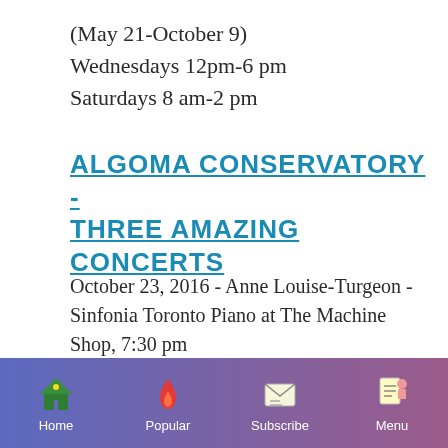(May 21-October 9)
Wednesdays 12pm-6 pm
Saturdays 8 am-2 pm
ALGOMA CONSERVATORY - THREE AMAZING CONCERTS
October 23, 2016 - Anne Louise-Turgeon - Sinfonia Toronto Piano at The Machine Shop, 7:30 pm
An outstanding professional chamber
Home  Popular  Subscribe  Menu